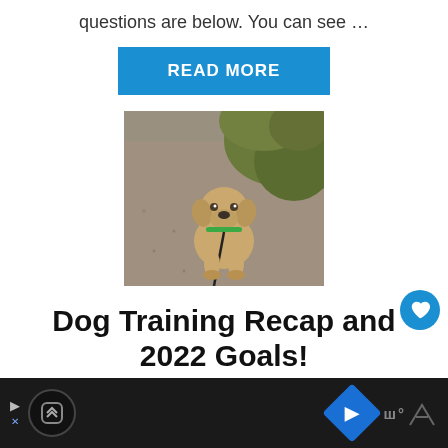questions are below. You can see …
READ MORE
[Figure (photo): A golden/yellow puppy sitting on a gravel path with green grass in the background, wearing a green collar and black leash, looking up at the camera.]
Dog Training Recap and 2022 Goals!
Ad bar with icons at the bottom of the page